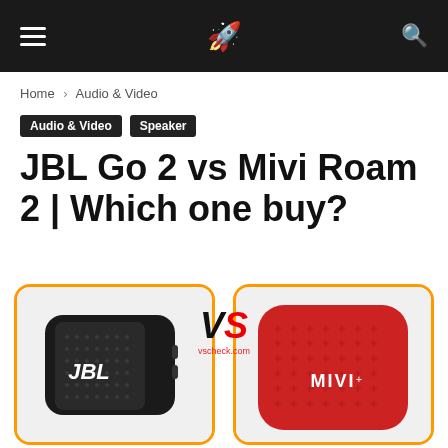Navigation bar with hamburger menu, rocket logo, and search icon
Home › Audio & Video
Audio & Video  Speaker
JBL Go 2 vs Mivi Roam 2 | Which one buy?
[Figure (photo): Product comparison image: JBL Go 2 Bluetooth speaker (black) on the left in an orange-bordered card, Mivi Roam 2 speaker (red) on the right in an orange-bordered card, with a stylized VS logo in the center and vscheck.com watermark]